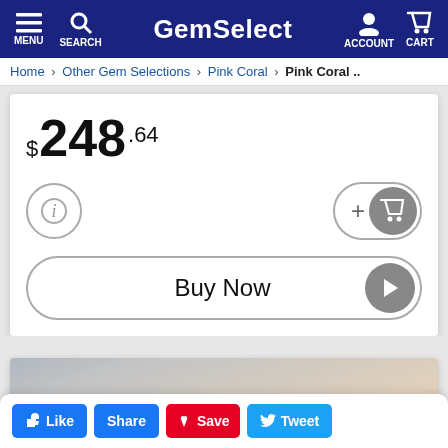GemSelect — MENU, SEARCH, ACCOUNT, CART
Home > Other Gem Selections > Pink Coral > Pink Coral ..
$248.64
[Figure (screenshot): Info button (circle with i), Add to cart button (+ with cart icon), Buy Now button with play arrow]
[Figure (photo): Pink coral gemstone held in fingers, close-up photograph]
Like  Share  Save  Tweet